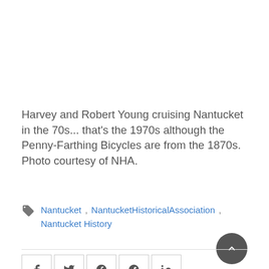Harvey and Robert Young cruising Nantucket in the 70s... that's the 1970s although the Penny-Farthing Bicycles are from the 1870s. Photo courtesy of NHA.
Nantucket , NantucketHistoricalAssociation , Nantucket History